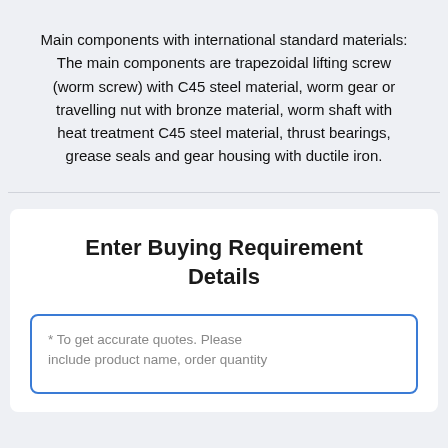Main components with international standard materials: The main components are trapezoidal lifting screw (worm screw) with C45 steel material, worm gear or travelling nut with bronze material, worm shaft with heat treatment C45 steel material, thrust bearings, grease seals and gear housing with ductile iron.
Enter Buying Requirement Details
* To get accurate quotes. Please include product name, order quantity